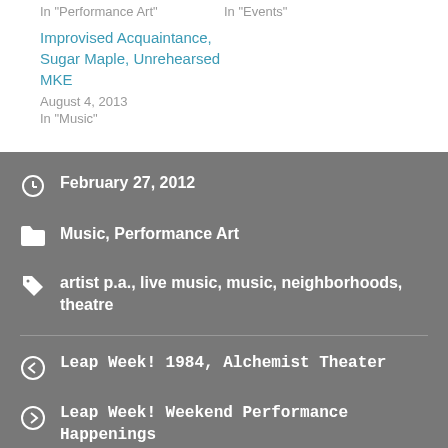In "Performance Art"
In "Events"
Improvised Acquaintance, Sugar Maple, Unrehearsed MKE
August 4, 2013
In "Music"
February 27, 2012
Music, Performance Art
artist p.a., live music, music, neighborhoods, theatre
Leap Week! 1984, Alchemist Theater
Leap Week! Weekend Performance Happenings